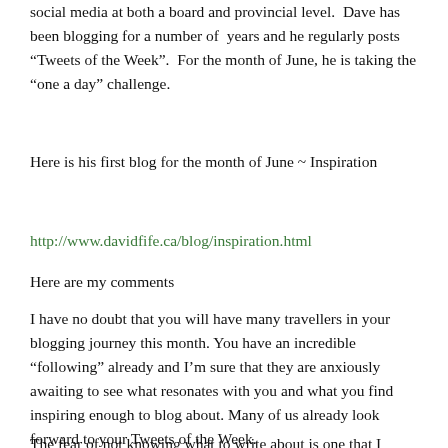social media at both a board and provincial level.  Dave has been blogging for a number of  years and he regularly posts “Tweets of the Week”.  For the month of June, he is taking the  “one a day” challenge.
Here is his first blog for the month of June ~ Inspiration
http://www.davidfife.ca/blog/inspiration.html
Here are my comments
I have no doubt that you will have many travellers in your blogging journey this month. You have an incredible “following” already and I’m sure that they are anxiously awaiting to see what resonates with you and what you find inspiring enough to blog about. Many of us already look forward to your Tweets of the Week.
The fear of not knowing what to write about is one that I